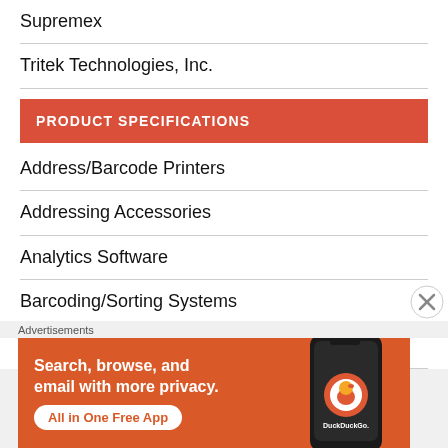Supremex
Tritek Technologies, Inc.
PRODUCT SPECIFICATIONS
Address/Barcode Printers
Addressing Accessories
Analytics Software
Barcoding/Sorting Systems
Bursters/Cutters/Processing Systems
[Figure (other): DuckDuckGo advertisement banner: 'Search, browse, and email with more privacy. All in One Free App' with phone image showing DuckDuckGo app]